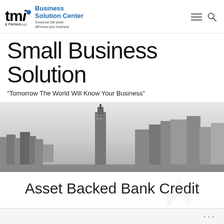TMI & Partners Business Solution Center — Tomorrow the world will know your business
Small Business Solution
"Tomorrow The World Will Know Your Business"
[Figure (photo): Black and white aerial/wide-angle photograph of a city skyline, featuring tall skyscrapers including what appears to be the Empire State Building, with a wide urban landscape.]
Asset Backed Bank Credit